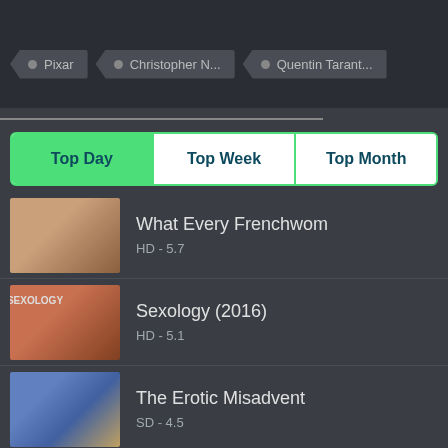Pixar
Christopher N...
Quentin Tarant...
[Figure (screenshot): Tab bar with three options: Top Day (active/green), Top Week, Top Month]
What Every Frenchwom
HD - 5.7
Sexology (2016)
HD - 5.1
The Erotic Misadvent
SD - 4.5
Satanico Pandemonium
SD - 6.2